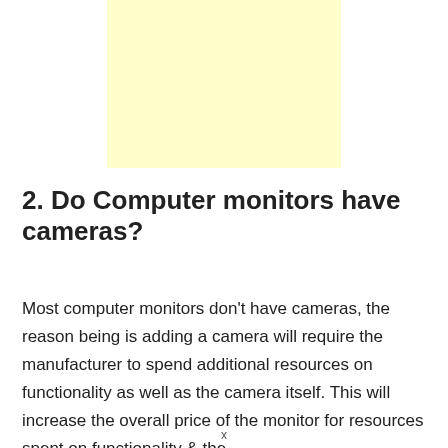[Figure (other): Light yellow/cream colored advertisement or image placeholder box]
2. Do Computer monitors have cameras?
Most computer monitors don't have cameras, the reason being is adding a camera will require the manufacturer to spend additional resources on functionality as well as the camera itself. This will increase the overall price of the monitor for resources spent on functionality & the
x